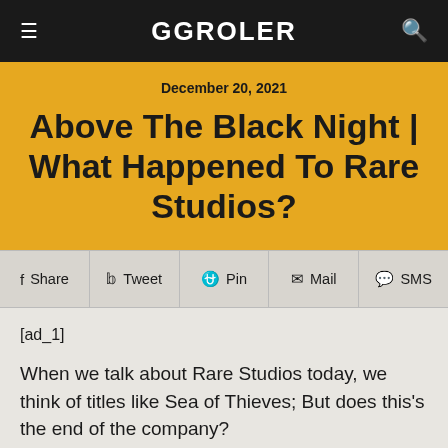GGROLER
December 20, 2021
Above The Black Night | What Happened To Rare Studios?
f Share  y Tweet  Pin  Mail  SMS
[ad_1]
When we talk about Rare Studios today, we think of titles like Sea of Thieves; But does this's the end of the company?